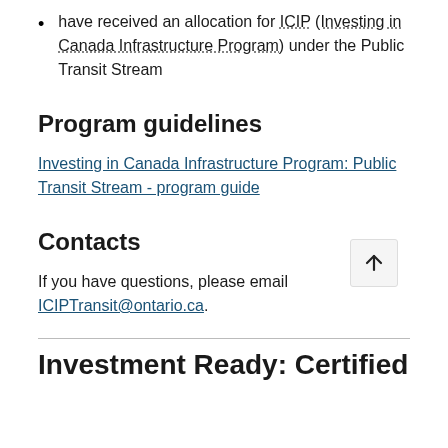have received an allocation for ICIP (Investing in Canada Infrastructure Program) under the Public Transit Stream
Program guidelines
Investing in Canada Infrastructure Program: Public Transit Stream - program guide
Contacts
If you have questions, please email ICIPTransit@ontario.ca.
Investment Ready: Certified